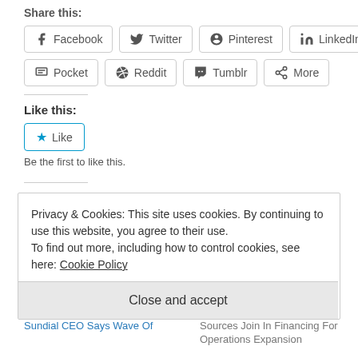Share this:
[Figure (other): Social sharing buttons row 1: Facebook, Twitter, Pinterest, LinkedIn]
[Figure (other): Social sharing buttons row 2: Pocket, Reddit, Tumblr, More]
Like this:
[Figure (other): Like button with star icon]
Be the first to like this.
Related
Privacy & Cookies: This site uses cookies. By continuing to use this website, you agree to their use.
To find out more, including how to control cookies, see here: Cookie Policy
Close and accept
Sundial CEO Says Wave Of
Sources Join In Financing For Operations Expansion